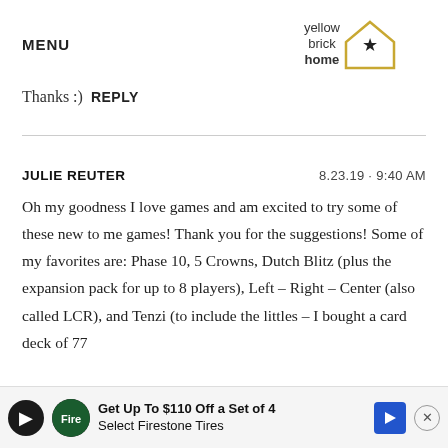MENU
[Figure (logo): Yellow Brick Home logo with house outline and star]
Thanks :)  REPLY
JULIE REUTER  8.23.19 · 9:40 AM
Oh my goodness I love games and am excited to try some of these new to me games! Thank you for the suggestions! Some of my favorites are: Phase 10, 5 Crowns, Dutch Blitz (plus the expansion pack for up to 8 players), Left – Right – Center (also called LCR), and Tenzi (to include the littles – I bought a card deck of 77 wa... ice on
[Figure (infographic): Advertisement banner: Get Up To $110 Off a Set of 4 Select Firestone Tires]